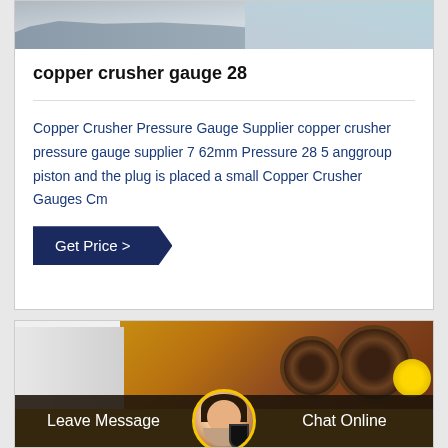[Figure (photo): Partial image of mining or crushing equipment at top of card]
copper crusher gauge 28
Copper Crusher Pressure Gauge Supplier copper crusher pressure gauge supplier 7 62mm Pressure 28 5 anggroup piston and the plug is placed a small Copper Crusher Gauges Cm
Get Price >
[Figure (photo): Image of mining machinery with yellow equipment and large wheels, with bottom chat bar showing Leave Message and Chat Online with agent avatar]
Leave Message
Chat Online